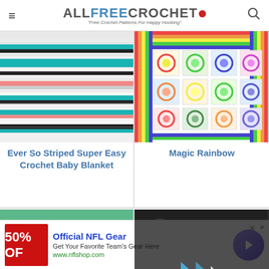ALLFREECROCHET • "Free Crochet Patterns For Happy Hooking"
[Figure (photo): Close-up of striped crochet blanket with teal, black, white, and coral horizontal stripes]
Ever So Striped Super Easy Crochet Baby Blanket
[Figure (photo): Colorful granny square crochet blanket with rainbow border, featuring multicolored floral squares]
Magic Rainbow
[Figure (photo): Teal crochet blanket with a teddy bear motif in brown and white, corner-to-corner style]
[Figure (screenshot): Video overlay with play button controls and mute icon, showing a person in a library/bookshelf background]
[Figure (photo): Advertisement: Official NFL Gear - 50% OFF banner with red background, Get Your Favorite Team's Gear Here, www.nflshop.com, with arrow button]